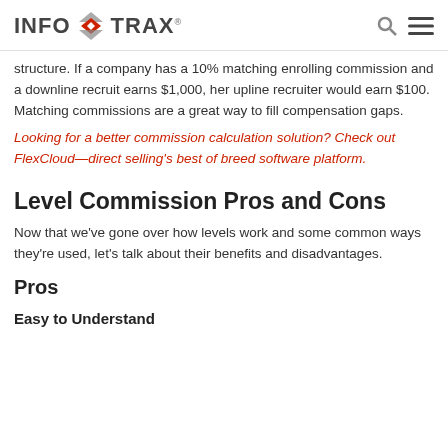INFOTRAX
structure. If a company has a 10% matching enrolling commission and a downline recruit earns $1,000, her upline recruiter would earn $100. Matching commissions are a great way to fill compensation gaps.
Looking for a better commission calculation solution? Check out FlexCloud—direct selling’s best of breed software platform.
Level Commission Pros and Cons
Now that we’ve gone over how levels work and some common ways they’re used, let’s talk about their benefits and disadvantages.
Pros
Easy to Understand